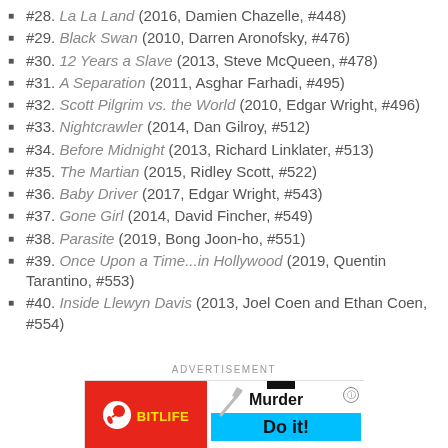#28. La La Land (2016, Damien Chazelle, #448)
#29. Black Swan (2010, Darren Aronofsky, #476)
#30. 12 Years a Slave (2013, Steve McQueen, #478)
#31. A Separation (2011, Asghar Farhadi, #495)
#32. Scott Pilgrim vs. the World (2010, Edgar Wright, #496)
#33. Nightcrawler (2014, Dan Gilroy, #512)
#34. Before Midnight (2013, Richard Linklater, #513)
#35. The Martian (2015, Ridley Scott, #522)
#36. Baby Driver (2017, Edgar Wright, #543)
#37. Gone Girl (2014, David Fincher, #549)
#38. Parasite (2019, Bong Joon-ho, #551)
#39. Once Upon a Time...in Hollywood (2019, Quentin Tarantino, #553)
#40. Inside Llewyn Davis (2013, Joel Coen and Ethan Coen, #554)
ADVERTISEMENT
[Figure (photo): BitLife advertisement banner showing red background with BitLife logo on the left and 'Murder Do it!' text on the right with a cyan bar]